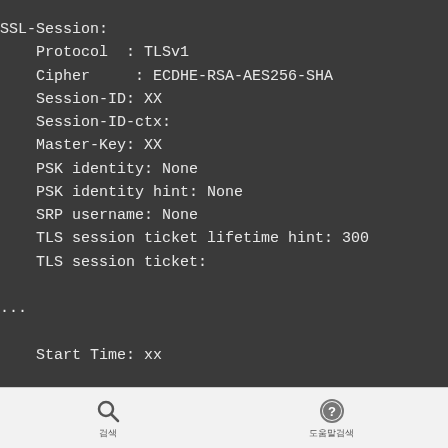SSL-Session:
    Protocol  : TLSv1
    Cipher     : ECDHE-RSA-AES256-SHA
    Session-ID: XX
    Session-ID-ctx:
    Master-Key: XX
    PSK identity: None
    PSK identity hint: None
    SRP username: None
    TLS session ticket lifetime hint: 300
    TLS session ticket:

...

    Start Time: xx

    Timeout    : 7200 (sec)

    Verify return code: 18 (self signed ce
🔍 검색   ❓ 도움말